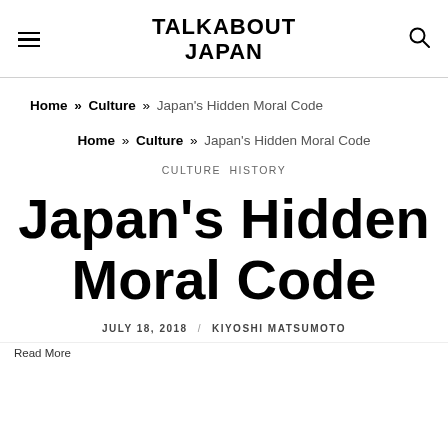TALKABOUT JAPAN
Home » Culture » Japan's Hidden Moral Code
Home » Culture » Japan's Hidden Moral Code
CULTURE   HISTORY
Japan's Hidden Moral Code
JULY 18, 2018 / KIYOSHI MATSUMOTO